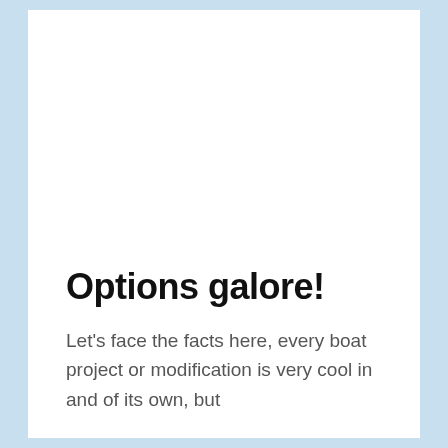Options galore!
Let's face the facts here, every boat project or modification is very cool in and of its own, but